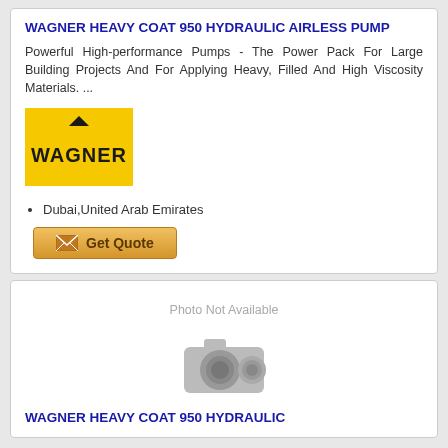WAGNER HEAVY COAT 950 HYDRAULIC AIRLESS PUMP
Powerful High-performance Pumps - The Power Pack For Large Building Projects And For Applying Heavy, Filled And High Viscosity Materials. ...
[Figure (logo): Wagner logo - yellow background with black triangle and WAGNER text]
Dubai,United Arab Emirates
[Figure (other): Get Quote button with envelope icon]
[Figure (photo): Photo Not Available placeholder with camera icon]
WAGNER HEAVY COAT 950 HYDRAULIC